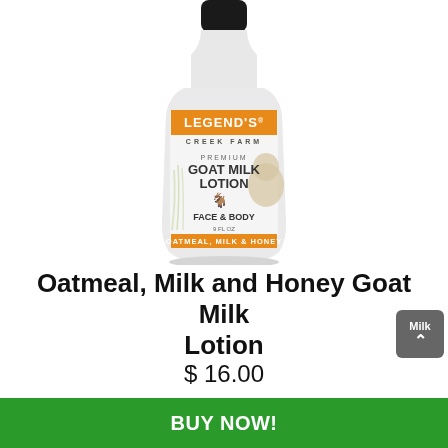[Figure (photo): A white plastic lotion bottle with black cap. Label reads: LEGEND'S CREEK FARM, PREMIUM GOAT MILK LOTION, FACE & BODY, 9 FL OZ, OATMEAL, MILK & HONEY. Orange banner at top and bottom of label. Goat image on label.]
Oatmeal, Milk and Honey Goat Milk Lotion
$ 16.00
BUY NOW!